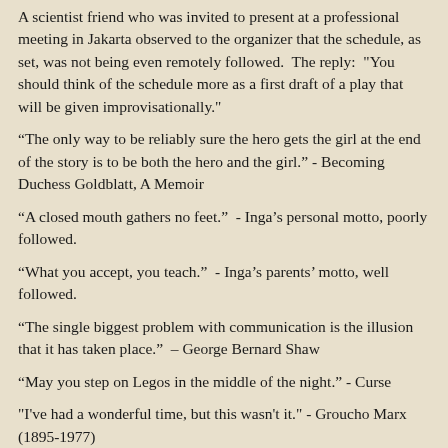A scientist friend who was invited to present at a professional meeting in Jakarta observed to the organizer that the schedule, as set, was not being even remotely followed.  The reply:  "You should think of the schedule more as a first draft of a play that will be given improvisationally."
“The only way to be reliably sure the hero gets the girl at the end of the story is to be both the hero and the girl.” - Becoming Duchess Goldblatt, A Memoir
“A closed mouth gathers no feet.”  - Inga’s personal motto, poorly followed.
“What you accept, you teach.”  - Inga’s parents’ motto, well followed.
“The single biggest problem with communication is the illusion that it has taken place.”  – George Bernard Shaw
“May you step on Legos in the middle of the night.” - Curse
"I've had a wonderful time, but this wasn't it." - Groucho Marx (1895-1977)
“A lot of people ask me if I were shipwrecked and could only have one book, what would it be?  I always say, ‘How to Build a